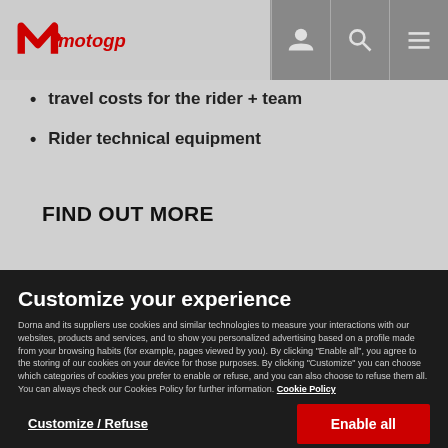MotoGP logo with navigation icons (user, search, menu)
travel costs for the rider + team
Rider technical equipment
FIND OUT MORE
Customize your experience
Dorna and its suppliers use cookies and similar technologies to measure your interactions with our websites, products and services, and to show you personalized advertising based on a profile made from your browsing habits (for example, pages viewed by you). By clicking “Enable all”, you agree to the storing of our cookies on your device for those purposes. By clicking “Customize” you can choose which categories of cookies you prefer to enable or refuse, and you can also choose to refuse them all. You can always check our Cookies Policy for further information. Cookie Policy
Customize / Refuse
Enable all